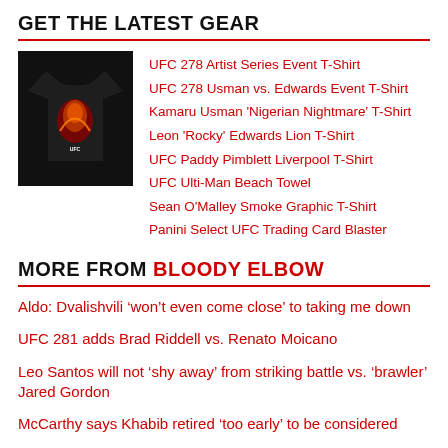GET THE LATEST GEAR
UFC 278 Artist Series Event T-Shirt
UFC 278 Usman vs. Edwards Event T-Shirt
Kamaru Usman 'Nigerian Nightmare' T-Shirt
Leon 'Rocky' Edwards Lion T-Shirt
UFC Paddy Pimblett Liverpool T-Shirt
UFC Ulti-Man Beach Towel
Sean O'Malley Smoke Graphic T-Shirt
Panini Select UFC Trading Card Blaster
MORE FROM BLOODY ELBOW
Aldo: Dvalishvili ‘won't even come close’ to taking me down
UFC 281 adds Brad Riddell vs. Renato Moicano
Leo Santos will not ‘shy away’ from striking battle vs. ‘brawler’ Jared Gordon
McCarthy says Khabib retired ‘too early’ to be considered